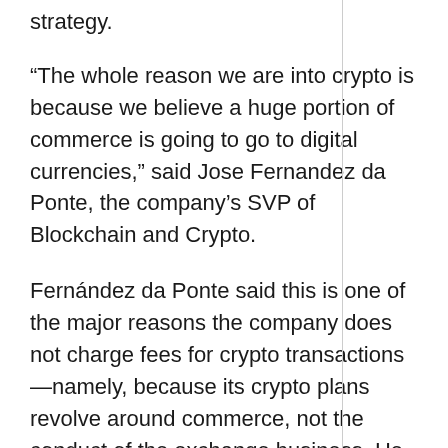strategy.
“The whole reason we are into crypto is because we believe a huge portion of commerce is going to go to digital currencies,” said Jose Fernandez da Ponte, the company’s SVP of Blockchain and Crypto.
Fernández da Ponte said this is one of the major reasons the company does not charge fees for crypto transactions—namely, because its crypto plans revolve around commerce, not the conduct of the exchange business. He also noted that PayPal is bullish on more countries adopting stablecoins and central bank currencies, a development that will favor the company’s